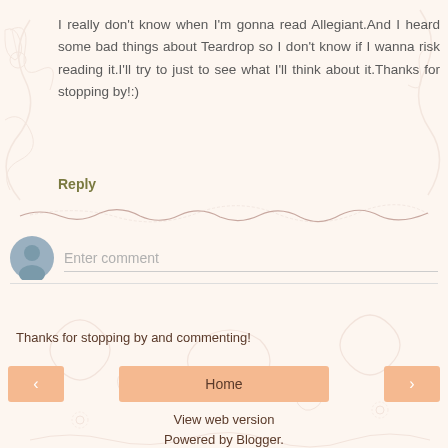I really don't know when I'm gonna read Allegiant.And I heard some bad things about Teardrop so I don't know if I wanna risk reading it.I'll try to just to see what I'll think about it.Thanks for stopping by!:)
Reply
Enter comment
Thanks for stopping by and commenting!
Home
View web version
Powered by Blogger.